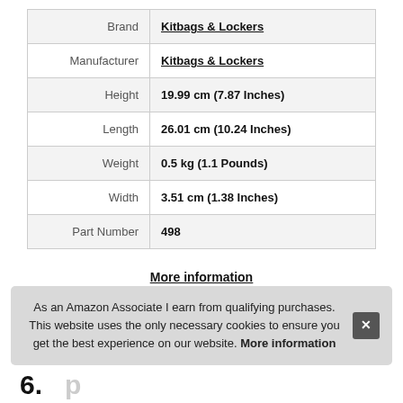| Attribute | Value |
| --- | --- |
| Brand | Kitbags & Lockers |
| Manufacturer | Kitbags & Lockers |
| Height | 19.99 cm (7.87 Inches) |
| Length | 26.01 cm (10.24 Inches) |
| Weight | 0.5 kg (1.1 Pounds) |
| Width | 3.51 cm (1.38 Inches) |
| Part Number | 498 |
More information
As an Amazon Associate I earn from qualifying purchases. This website uses the only necessary cookies to ensure you get the best experience on our website. More information
6.